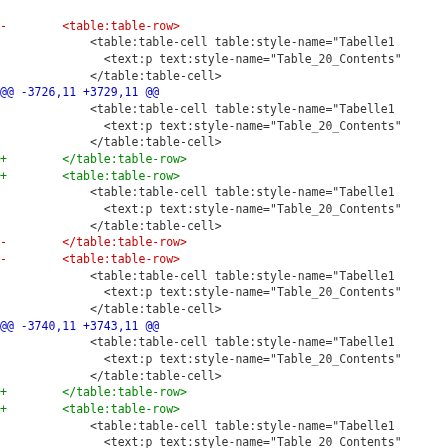[Figure (screenshot): A diff/patch view of XML code showing table:table-row and table:table-cell elements with red (removed) lines, green (added) lines, and blue diff hunk headers.]